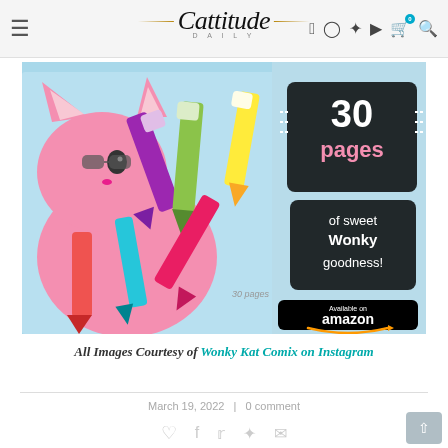Cattitude Daily — navigation bar with hamburger menu, logo, social icons (Facebook, Instagram, Pinterest, YouTube), cart (0), search
[Figure (illustration): Promotional image for a Wonky Kat Comix coloring book. Shows a pink cartoon cat character holding colorful crayons on a light blue background. Text overlay reads '30 pages of sweet Wonky goodness!' and 'Available on amazon' with Amazon logo and arrow smile.]
All Images Courtesy of Wonky Kat Comix on Instagram
March 19, 2022  |  0 comment
Social share icons: heart, Facebook, Twitter, Pinterest, email